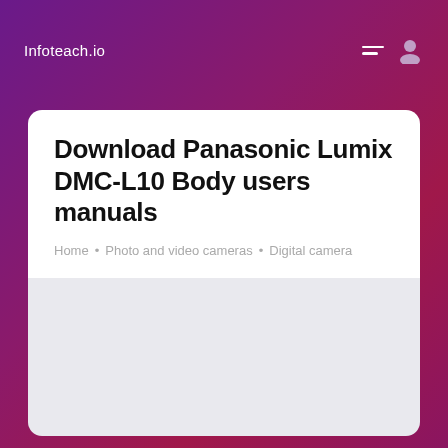Infoteach.io
Download Panasonic Lumix DMC-L10 Body users manuals
Home • Photo and video cameras • Digital camera